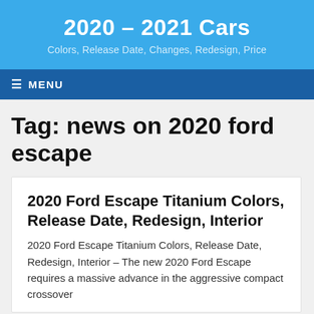2020 – 2021 Cars
Colors, Release Date, Changes, Redesign, Price
≡ MENU
Tag: news on 2020 ford escape
2020 Ford Escape Titanium Colors, Release Date, Redesign, Interior
2020 Ford Escape Titanium Colors, Release Date, Redesign, Interior – The new 2020 Ford Escape requires a massive advance in the aggressive compact crossover